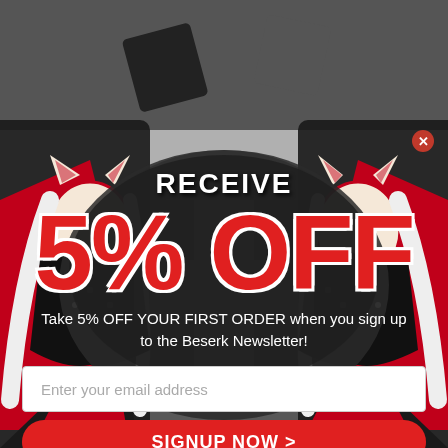[Figure (illustration): Anime-style fox demon women in red and black kimono flanking a promotional popup, mirrored symmetrically on left and right sides with dark gray background]
RECEIVE 5% OFF
Take 5% OFF YOUR FIRST ORDER when you sign up to the Beserk Newsletter!
Enter your email address
SIGNUP NOW >